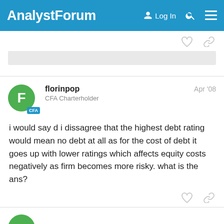AnalystForum  Log In
i would say d i dissagree that the highest debt rating would mean no debt at all as for the cost of debt it goes up with lower ratings which affects equity costs negatively as firm becomes more risky. what is the ans?
florinpop
CFA Charterholder
Apr '08